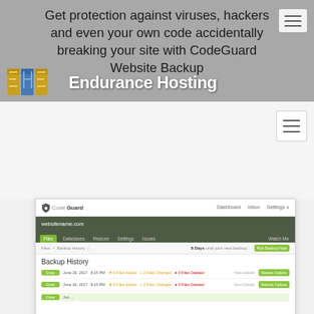Get protection against viruses, hackers and even your own code accidentally breaking your site with CodeGuard Website Backup
[Figure (logo): Endurance Hosting logo with gold/blue EH letters]
[Figure (screenshot): CodeGuard website backup interface showing Backup History page with websitename.com, navigation tabs (Files, Databases, Restore, Settings, Issues, Watch Me), breadcrumb Files > Backup History, countdown '8 Days until your next backup', Run Backup Now button, and two backup history rows for June 26, 2017 each showing 0 Files Added, 2 Files Changed, 0 Files Deleted with View Details and Restore Options buttons]